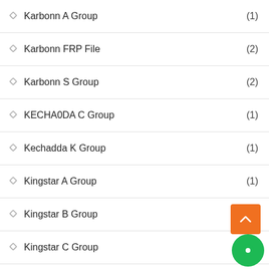Karbonn A Group (1)
Karbonn FRP File (2)
Karbonn S Group (2)
KECHA0DA C Group (1)
Kechadda K Group (1)
Kingstar A Group (1)
Kingstar B Group (4)
Kingstar C Group (7)
Kingstar H Group (1)
Kingstar K Group (1)
Kingstar M Group
Kingstar P Group (2)